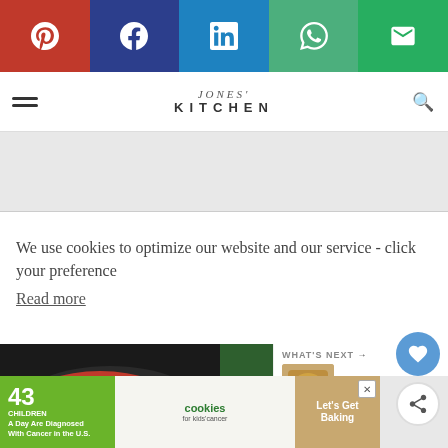[Figure (screenshot): Social share bar with Pinterest (red), Facebook (dark blue), LinkedIn (blue), WhatsApp (green), Email (green) buttons]
JONES' KITCHEN
We use cookies to optimize our website and our service - click your preference
Read more
[Figure (photo): Two food photos of stir fry with vegetables in a pan]
WHAT'S NEXT → Honey Mustard...
ACCEPT
[Figure (infographic): Ad banner: 43 CHILDREN A Day Are Diagnosed With Cancer in the U.S. - cookies for kids cancer - Let's Get Baking]